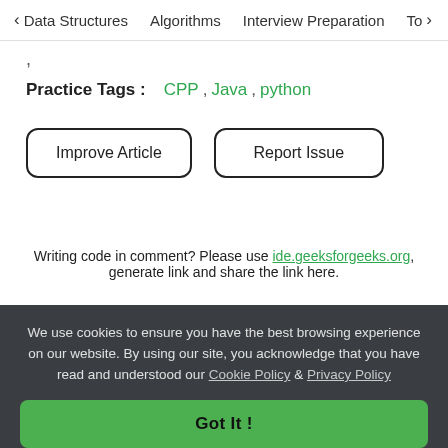< Data Structures   Algorithms   Interview Preparation   To>
,
Practice Tags :   CPP,  Java,  python
Improve Article
Report Issue
Writing code in comment? Please use ide.geeksforgeeks.org, generate link and share the link here.
We use cookies to ensure you have the best browsing experience on our website. By using our site, you acknowledge that you have read and understood our Cookie Policy & Privacy Policy
Got It !